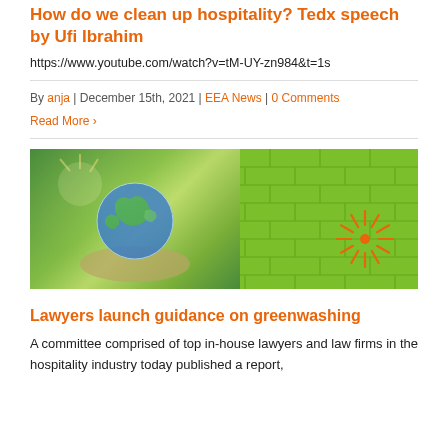How do we clean up hospitality? Tedx speech by Ufi Ibrahim
https://www.youtube.com/watch?v=tM-UY-zn984&t=1s
By anja | December 15th, 2021 | EEA News | 0 Comments
Read More >
[Figure (illustration): Banner image showing a person holding a globe in green nature on the left half, and a green brick wall with an orange starburst logo on the right half, on a dark navy background.]
Lawyers launch guidance on greenwashing
A committee comprised of top in-house lawyers and law firms in the hospitality industry today published a report,